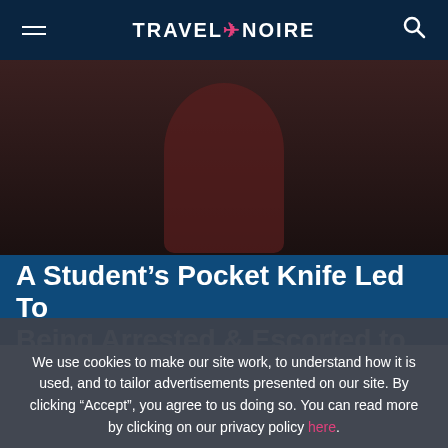TRAVEL+NOIRE
[Figure (photo): Partial photo of a person wearing a dark red/maroon hoodie against a dark background]
A Student’s Pocket Knife Led To Being Arrested & Escorted to Police
We use cookies to make our site work, to understand how it is used, and to tailor advertisements presented on our site. By clicking “Accept”, you agree to us doing so. You can read more by clicking on our privacy policy here.